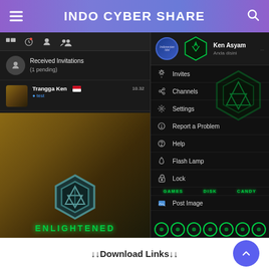INDO CYBER SHARE
[Figure (screenshot): Screenshot of a mobile app (BBM/messaging app with Ingress Enlightened theme) showing chat list on the left with 'Received Invitations (1 pending)' and a chat from 'Trangga Ken' with time '10.32', and a settings/menu panel on the right with options: Invites, Channels, Settings, Report a Problem, Help, Flash Lamp, Lock, Post Image. The left panel shows the Ingress Enlightened logo with hexagonal design on a brown/gold background with 'ENLIGHTENED' text at the bottom. The right panel shows the green Ingress logo and menu items with green icon accents, plus GAMES, DISK, CANDY labels and circular icons at bottom.]
↓↓Download Links↓↓